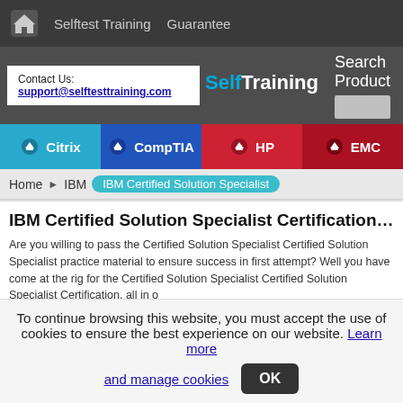Selftest Training  Guarantee
Contact Us: support@selftesttraining.com
Search Product
Citrix  CompTIA  HP  EMC
Home → IBM  IBM Certified Solution Specialist
IBM Certified Solution Specialist Certification Exam
Are you willing to pass the Certified Solution Specialist Certified Solution Specialist practice material to ensure success in first attempt? Well you have come at the right for the Certified Solution Specialist Certified Solution Specialist Certification, all in o
We offer preparation material for a wide range of IBM certification exams to obtain need is to select appropriate IBM Certified Solution Specialist exam from below. .
To continue browsing this website, you must accept the use of cookies to ensure the best experience on our website. Learn more and manage cookies  OK